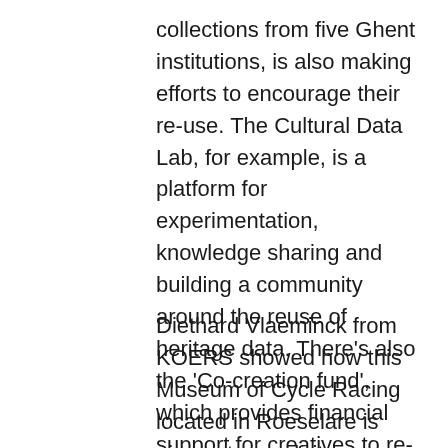collections from five Ghent institutions, is also making efforts to encourage their re-use. The Cultural Data Lab, for example, is a platform for experimentation, knowledge sharing and building a community around the reuse of heritage data. There’s also the ‘Co-creation fund’, which provides financial support for creatives to re-use collection data.
Diethard Vlaeminck from KOERS showed how this Museum of Cycle Racing located in Roeselare is aiming to reach its potentially global audience using digital means. KOERS wants to serve an international audience by offering collections on various platforms and linking to social media. They’re also paying